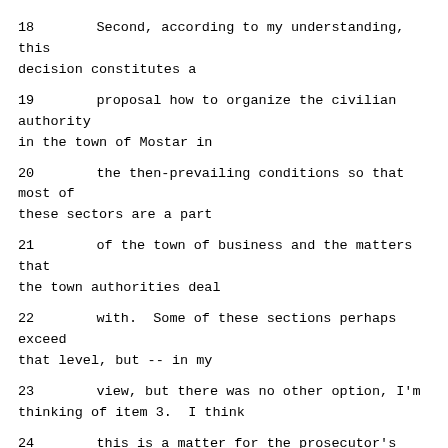18     Second, according to my understanding, this decision constitutes a
19     proposal how to organize the civilian authority in the town of Mostar in
20     the then-prevailing conditions so that most of these sectors are a part
21     of the town of business and the matters that the town authorities deal
22     with.  Some of these sections perhaps exceed that level, but -- in my
23     view, but there was no other option, I'm thinking of item 3.  I think
24     this is a matter for the prosecutor's office or